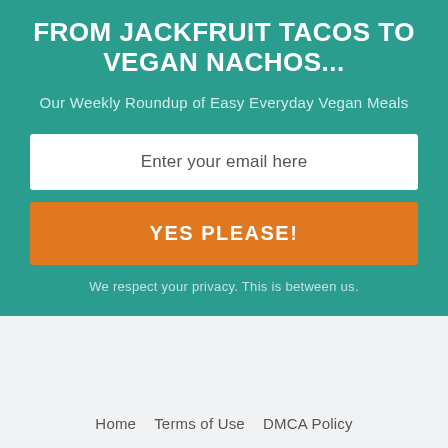FROM JACKFRUIT TACOS TO VEGAN NACHOS...
Our Weekly Roundup of Easy Everyday Vegan Meals
Enter your email here
YES PLEASE!
We respect your privacy. This is between us.
Home   Terms of Use   DMCA Policy